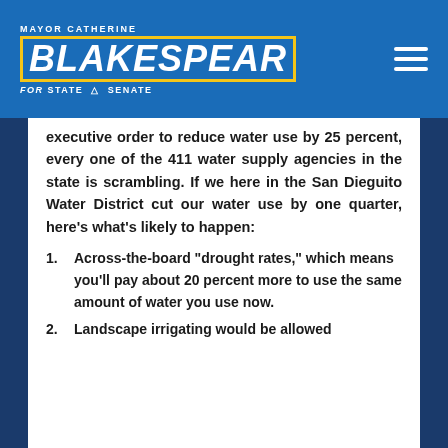Mayor Catherine Blakespear for State Senate
executive order to reduce water use by 25 percent, every one of the 411 water supply agencies in the state is scrambling. If we here in the San Dieguito Water District cut our water use by one quarter, here's what's likely to happen:
1. Across-the-board "drought rates," which means you'll pay about 20 percent more to use the same amount of water you use now.
2. Landscape irrigating would be allowed